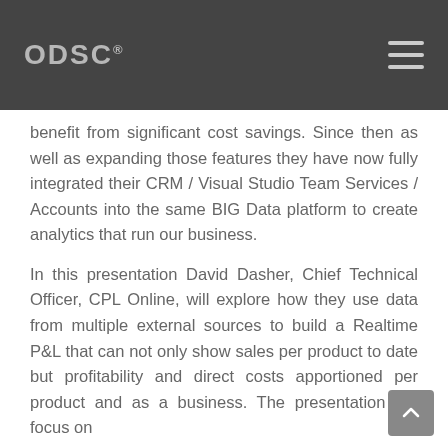ODSC
benefit from significant cost savings. Since then as well as expanding those features they have now fully integrated their CRM / Visual Studio Team Services / Accounts into the same BIG Data platform to create analytics that run our business.
In this presentation David Dasher, Chief Technical Officer, CPL Online, will explore how they use data from multiple external sources to build a Realtime P&L that can not only show sales per product to date but profitability and direct costs apportioned per product and as a business. The presentation will focus on